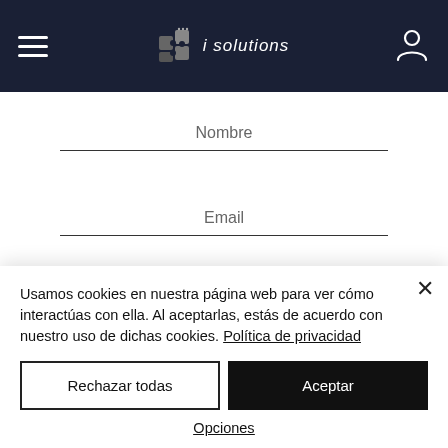[Figure (screenshot): Navigation bar with hamburger menu, IT Solutions logo with puzzle icon, and user/profile icon on dark navy background]
Nombre
Email
Teléfono
Empresa
Usamos cookies en nuestra página web para ver cómo interactúas con ella. Al aceptarlas, estás de acuerdo con nuestro uso de dichas cookies. Política de privacidad
Rechazar todas
Aceptar
Opciones